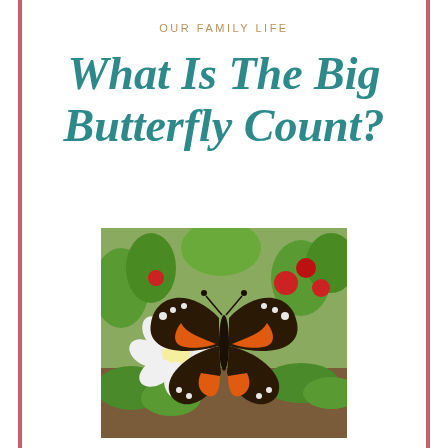OUR FAMILY LIFE
What Is The Big Butterfly Count?
[Figure (photo): A Red Admiral butterfly resting on a white flower in a garden, surrounded by green foliage and red flowers in the background.]